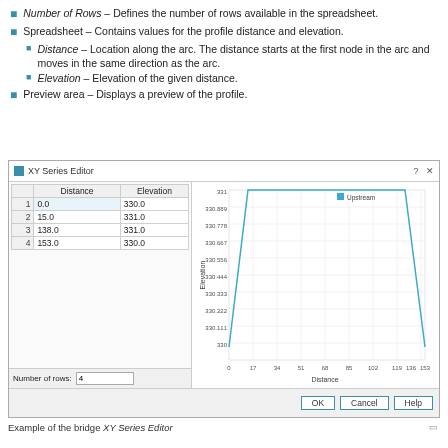Number of Rows – Defines the number of rows available in the spreadsheet.
Spreadsheet – Contains values for the profile distance and elevation.
Distance – Location along the arc. The distance starts at the first node in the arc and moves in the same direction as the arc.
Elevation – Elevation of the given distance.
Preview area – Displays a preview of the profile.
[Figure (screenshot): XY Series Editor dialog showing a spreadsheet with Distance and Elevation columns (rows: 0.0/330.0, 15.0/331.0, 138.0/331.0, 153.0/330.0), Number of rows set to 4, and a line chart preview labeled Upstream showing a trapezoidal elevation profile from distance 0 to 153, with elevation rising from 330 to 331 and back to 330.]
Example of the bridge XY Series Editor